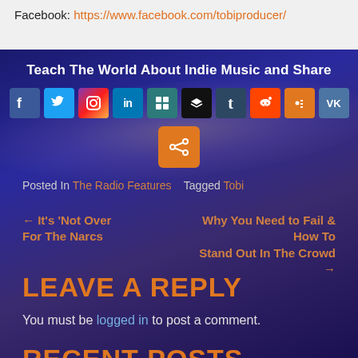Facebook: https://www.facebook.com/tobiproducer/
Teach The World About Indie Music and Share
[Figure (infographic): Social media sharing icons row: Facebook, Twitter, Instagram, LinkedIn, Yummly, Buffer, Tumblr, Reddit, Blogger, VK; plus an orange share button below]
Posted In The Radio Features   Tagged Tobi
← It's 'Not Over For The Narcs
Why You Need to Fail & How To Stand Out In The Crowd →
LEAVE A REPLY
You must be logged in to post a comment.
RECENT POSTS